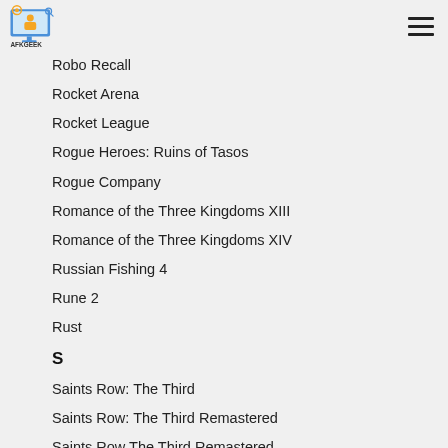AFKGeek logo and navigation
Robo Recall
Rocket Arena
Rocket League
Rogue Heroes: Ruins of Tasos
Rogue Company
Romance of the Three Kingdoms XIII
Romance of the Three Kingdoms XIV
Russian Fishing 4
Rune 2
Rust
S
Saints Row: The Third
Saints Row: The Third Remastered
Saints Row The Third Remastered
Saints Row IV
Sands of Salzaar